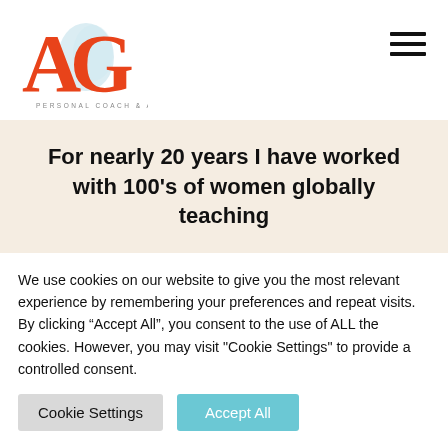[Figure (logo): AG Personal Coach & Author logo with large orange serif letters A and G with a light blue watercolor splash effect, and small text 'PERSONAL COACH & AUTHOR' beneath]
For nearly 20 years I have worked with 100's of women globally teaching
We use cookies on our website to give you the most relevant experience by remembering your preferences and repeat visits. By clicking “Accept All”, you consent to the use of ALL the cookies. However, you may visit "Cookie Settings" to provide a controlled consent.
Cookie Settings | Accept All